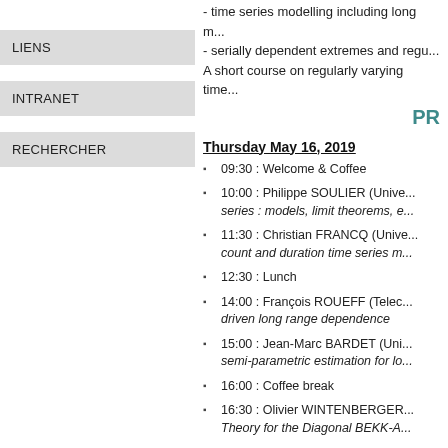- time series modelling including long m...
- serially dependent extremes and regu...
A short course on regularly varying time...
LIENS
INTRANET
RECHERCHER
PR
Thursday May 16, 2019
09:30 : Welcome & Coffee
10:00 : Philippe SOULIER (Unive... series : models, limit theorems, e...
11:30 : Christian FRANCQ (Unive... count and duration time series m...
12:30 : Lunch
14:00 : François ROUEFF (Telec... driven long range dependence
15:00 : Jean-Marc BARDET (Uni... semi-parametric estimation for lo...
16:00 : Coffee break
16:30 : Olivier WINTENBERGER... Theory for the Diagonal BEKK-A...